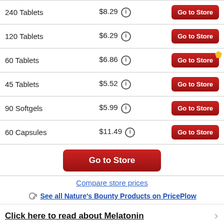| Product | Price | Action |
| --- | --- | --- |
| 240 Tablets | $8.29 ⓘ | Go to Store |
| 120 Tablets | $6.29 ⓘ | Go to Store |
| 60 Tablets | $6.86 ⓘ | Go to Store |
| 45 Tablets | $5.52 ⓘ | Go to Store |
| 90 Softgels | $5.99 ⓘ | Go to Store |
| 60 Capsules | $11.49 ⓘ | Go to Store |
Go to Store
Compare store prices
See all Nature's Bounty Products on PricePlow
Click here to read about Melatonin
Ingredients